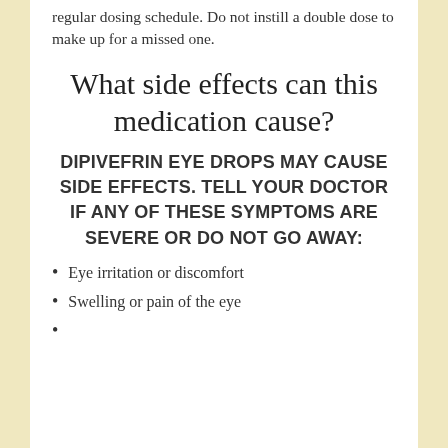regular dosing schedule. Do not instill a double dose to make up for a missed one.
What side effects can this medication cause?
DIPIVEFRIN EYE DROPS MAY CAUSE SIDE EFFECTS. TELL YOUR DOCTOR IF ANY OF THESE SYMPTOMS ARE SEVERE OR DO NOT GO AWAY:
Eye irritation or discomfort
Swelling or pain of the eye